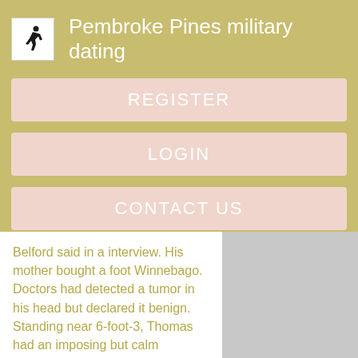Pembroke Pines military dating
REGISTER
LOGIN
CONTACT US
Belford said in a interview. His mother bought a foot Winnebago. Doctors had detected a tumor in his head but declared it benign. Standing near 6-foot-3, Thomas had an imposing but calm presence on the beat — a hard Buckeye AZ date ideas to rile.